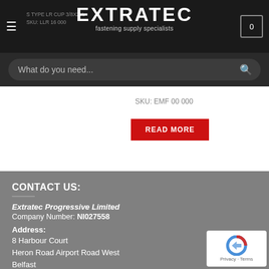[Figure (screenshot): Extratec website header with logo, hamburger menu, cart icon, and product SKU text partially visible]
S TYPE LR CUP 3/8X2LL
SKU: LLR 16 000
What do you need...
SKU: EMF 00 000
READ MORE
CONTACT US:
Extratec Progressive Limited
Company Number: NI027558
Address:
8 Harbour Court
Heron Road Airport Road West
Belfast